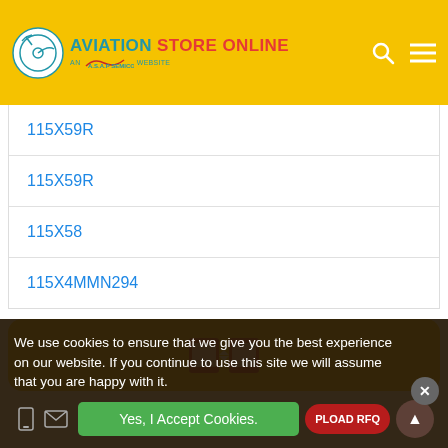AVIATION STORE ONLINE — AN A.S.A.P SEMICONDUCTOR WEBSITE
115X59R
115X59R
115X58
115X4MMN294
We use cookies to ensure that we give you the best experience on our website. If you continue to use this site we will assume that you are happy with it.
Yes, I Accept Cookies.